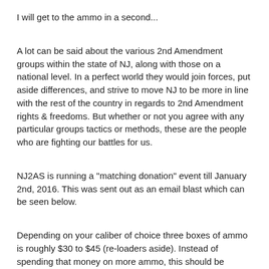I will get to the ammo in a second...
A lot can be said about the various 2nd Amendment groups within the state of NJ, along with those on a national level.  In a perfect world they would join forces, put aside differences, and strive to move NJ to be more in line with the rest of the country in regards to 2nd Amendment rights & freedoms.  But whether or not you agree with any particular groups tactics or methods, these are the people who are fighting our battles for us.
NJ2AS is running a "matching donation" event till January 2nd, 2016.  This was sent out as an email blast which can be seen below.
Depending on your caliber of choice three boxes of ammo is roughly $30 to $45 (re-loaders aside).  Instead of spending that money on more ammo, this should be viewed as an opportunity to help further the cause of a 2nd Amendment group in NJ.  And with matching donations, your giving twice the assistance.